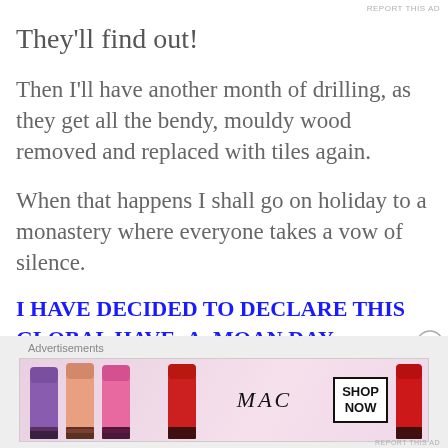REPORT THIS AD
They'll find out!
Then I'll have another month of drilling, as they get all the bendy, mouldy wood removed and replaced with tiles again.
When that happens I shall go on holiday to a monastery where everyone takes a vow of silence.
I HAVE DECIDED TO DECLARE THIS GLOBAL HAVE–A–MOAN DAY.
What do you REALLY hate?
[Figure (illustration): MAC cosmetics advertisement banner showing colorful lipsticks (purple, salmon, pink, red), MAC logo script text, and a SHOP NOW button box, on a pink/cream background.]
Advertisements